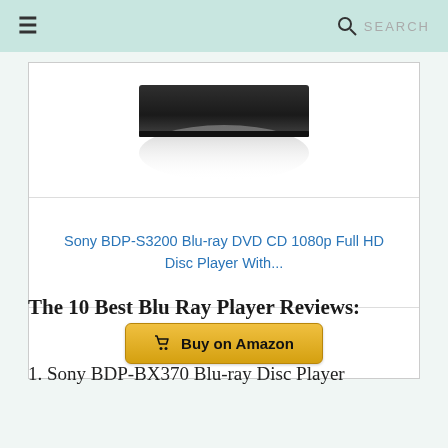≡  🔍 SEARCH
[Figure (photo): Blu-ray disc player product image, black slim device shown from front/top angle against white background with shadow below]
Sony BDP-S3200 Blu-ray DVD CD 1080p Full HD Disc Player With...
Buy on Amazon
The 10 Best Blu Ray Player Reviews:
1. Sony BDP-BX370 Blu-ray Disc Player